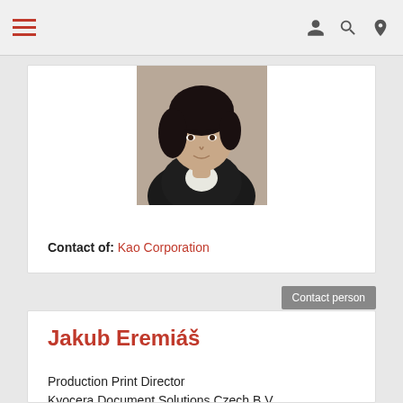Navigation bar with hamburger menu and icons
[Figure (photo): Profile photo of a woman with dark hair wearing a dark jacket]
Contact of: Kao Corporation
Contact person
Jakub Eremiáš
Production Print Director
Kyocera Document Solutions Czech B.V
KYOCERA Document Solutions Inc.